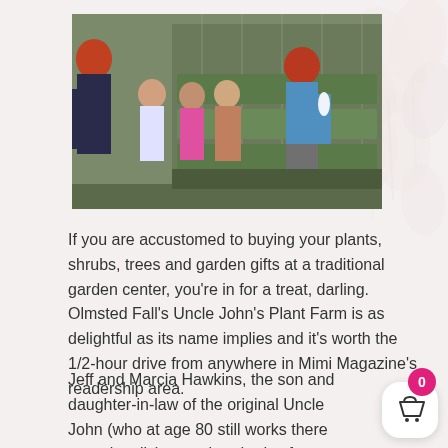[Figure (photo): Photo of a woman with red hair in a blue sweater showing plants to a group of children in a greenhouse/nursery setting, with rows of green plants in the background.]
If you are accustomed to buying your plants, shrubs, trees and garden gifts at a traditional garden center, you're in for a treat, darling. Olmsted Fall's Uncle John's Plant Farm is as delightful as its name implies and it's worth the 1/2-hour drive from anywhere in Mimi Magazine's readership area.
Jeff and Marcia Hawkins, the son and daughter-in-law of the original Uncle John (who at age 80 still works there occasionally), grow hundreds of thousands of plants under 4 1/2 acres of cover, including nine